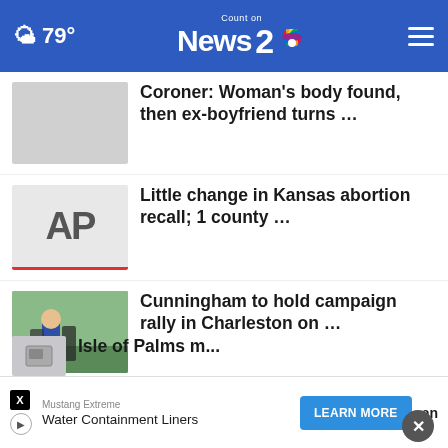79° Count on News 2
Coroner: Woman's body found, then ex-boyfriend turns …
Little change in Kansas abortion recall; 1 county …
Cunningham to hold campaign rally in Charleston on …
Metal-detecting stranger retrieves woman's ring lost …
Berkeley Co. to hold 33rd annual Beach Sweep
Mustang Extreme
Water Containment Liners
Isle of Palms m…